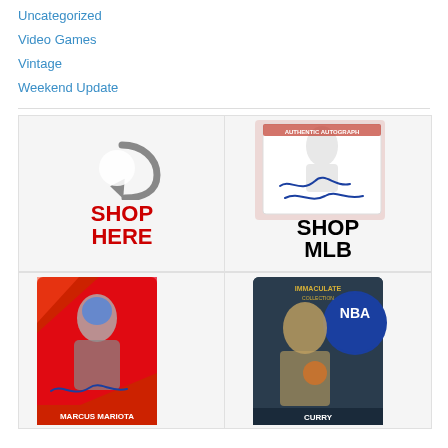Uncategorized
Video Games
Vintage
Weekend Update
[Figure (illustration): Shop Here button with red bold text and gray circular arrow icon]
[Figure (illustration): Shop MLB section with baseball autograph cards image above and bold black SHOP MLB text below]
[Figure (illustration): Marcus Mariota football card with red geometric design and autograph]
[Figure (illustration): Stephen Curry NBA Immaculate Collection card with NBA logo]